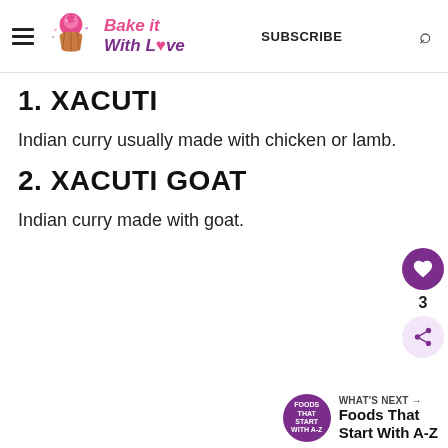Bake it With Love — SUBSCRIBE
1. XACUTI
Indian curry usually made with chicken or lamb.
2. XACUTI GOAT
Indian curry made with goat.